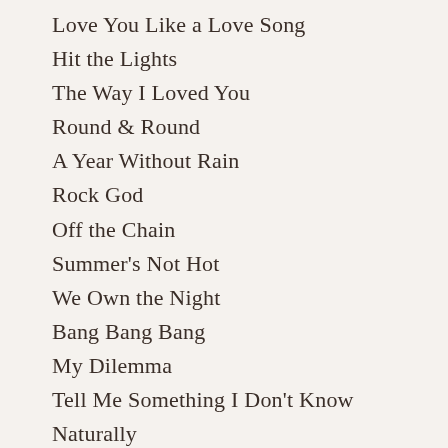Love You Like a Love Song
Hit the Lights
The Way I Loved You
Round & Round
A Year Without Rain
Rock God
Off the Chain
Summer's Not Hot
We Own the Night
Bang Bang Bang
My Dilemma
Tell Me Something I Don't Know
Naturally
Who Says (Encore)